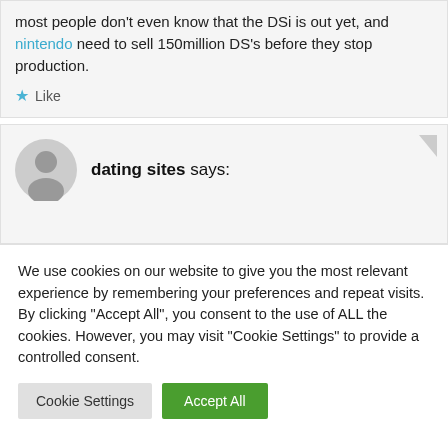most people don't even know that the DSi is out yet, and nintendo need to sell 150million DS's before they stop production.
★ Like
dating sites says:
We use cookies on our website to give you the most relevant experience by remembering your preferences and repeat visits. By clicking "Accept All", you consent to the use of ALL the cookies. However, you may visit "Cookie Settings" to provide a controlled consent.
Cookie Settings | Accept All